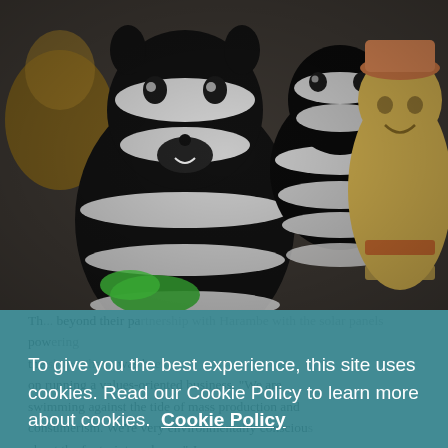[Figure (photo): Close-up photo of knitted/crocheted stuffed animal toys including black-and-white striped zebras and a smiling monkey/teddy bear with a hat, displayed together in a group]
The ... beyond their partnership with Harambe with the solar panels powering the ... shop. The ... was been on running a values-oriented business. "We are swimming against the tide of mass production and consumerism. We're very environmentally conscious about the footprint we leave," Jane says.
To give you the best experience, this site uses cookies. Read our Cookie Policy to learn more about cookies. Cookie Policy
Ok